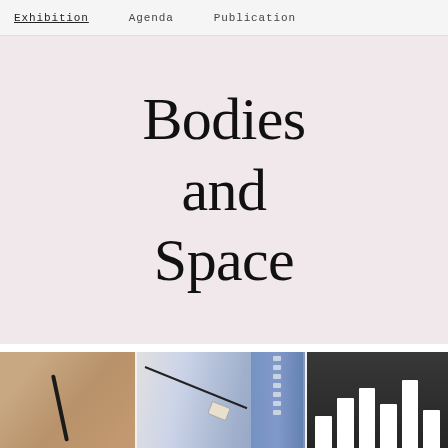Exhibition   Agenda   Publication
[Figure (photo): A pink/blush colored wall or board with the text 'Bodies and Space' printed in large serif typeface]
[Figure (photo): Three cropped photos side by side: left shows a close-up of a human neck/shoulder with a shadow, center shows a framed blue textile or film strip artwork with a hanging wire and tag, right shows a dark fabric with white vertical bar pattern]